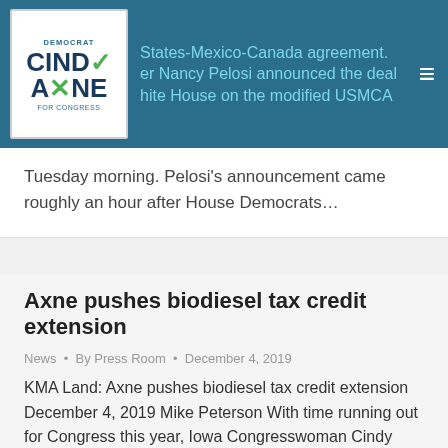Democrat Cindy Axne For Congress [logo] States-Mexico-Canada agreement. er Nancy Pelosi announced the deal hite House on the modified USMCA
Tuesday morning. Pelosi's announcement came roughly an hour after House Democrats…
Axne pushes biodiesel tax credit extension
News • By Press Room • December 4, 2019
KMA Land: Axne pushes biodiesel tax credit extension December 4, 2019 Mike Peterson With time running out for Congress this year, Iowa Congresswoman Cindy Axne is calling for continuing an important tax credit for renewable